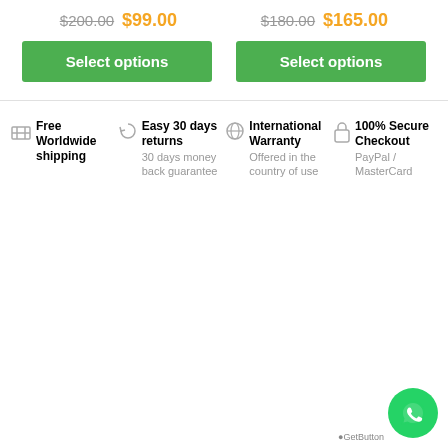$200.00  $99.00   $180.00  $165.00
Select options  Select options
Free Worldwide shipping
Easy 30 days returns  30 days money back guarantee
International Warranty  Offered in the country of use
100% Secure Checkout  PayPal / MasterCard